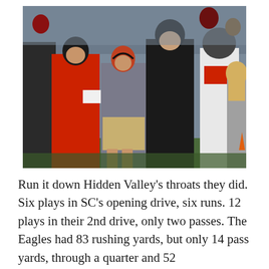[Figure (photo): Football coaches and players standing on the sideline during a cold-weather game. A man in a red hoodie and black beanie holds papers, a man in a gray jacket with headset and shorts stands next to him, a tall man in a black hoodie stands behind them, and football players in white uniforms are visible in the background along with other sideline personnel.]
Run it down Hidden Valley's throats they did. Six plays in SC's opening drive, six runs. 12 plays in their 2nd drive, only two passes. The Eagles had 83 rushing yards, but only 14 pass yards, through a quarter and 52